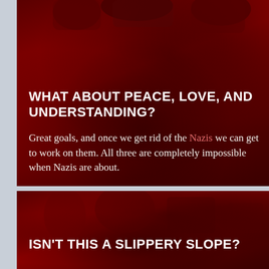[Figure (photo): Dark red background panel (top) with crowd photo overlay, partially visible at top of page]
WHAT ABOUT PEACE, LOVE, AND UNDERSTANDING?
Great goals, and once we get rid of the Nazis we can get to work on them. All three are completely impossible when Nazis are about.
[Figure (photo): Dark red background panel (bottom) with crowd photo overlay]
ISN'T THIS A SLIPPERY SLOPE?